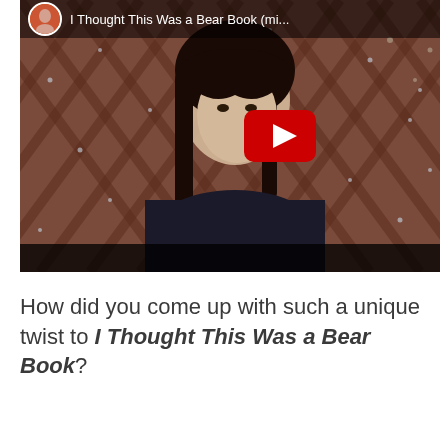[Figure (screenshot): YouTube video thumbnail showing a woman with long dark hair sitting in front of a wooden lattice background. A red YouTube play button is centered on the right side of the image. The top bar shows the video title 'I Thought This Was a Bear Book (mi...' with a small circular avatar on the left. The bottom bar is dark/black.]
How did you come up with such a unique twist to I Thought This Was a Bear Book?